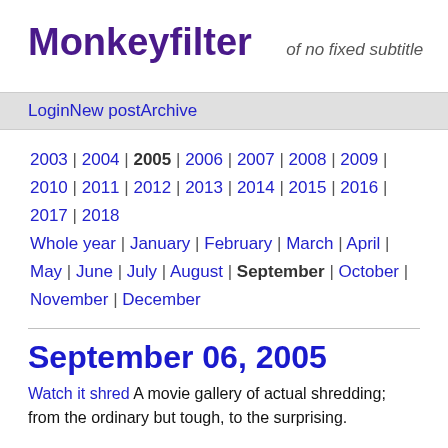Monkeyfilter
of no fixed subtitle
Login | New post | Archive
2003 | 2004 | 2005 | 2006 | 2007 | 2008 | 2009 | 2010 | 2011 | 2012 | 2013 | 2014 | 2015 | 2016 | 2017 | 2018 Whole year | January | February | March | April | May | June | July | August | September | October | November | December
September 06, 2005
Watch it shred A movie gallery of actual shredding; from the ordinary but tough, to the surprising.